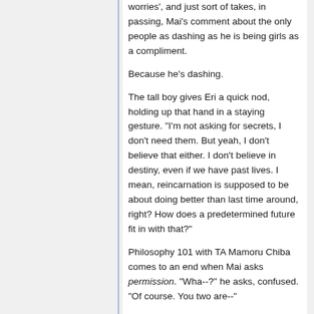worries', and just sort of takes, in passing, Mai's comment about the only people as dashing as he is being girls as a compliment.
Because he's dashing.
The tall boy gives Eri a quick nod, holding up that hand in a staying gesture. "I'm not asking for secrets, I don't need them. But yeah, I don't believe that either. I don't believe in destiny, even if we have past lives. I mean, reincarnation is supposed to be about doing better than last time around, right? How does a predetermined future fit in with that?"
Philosophy 101 with TA Mamoru Chiba comes to an end when Mai asks permission. "Wha--?" he asks, confused. "Of course. You two are--"